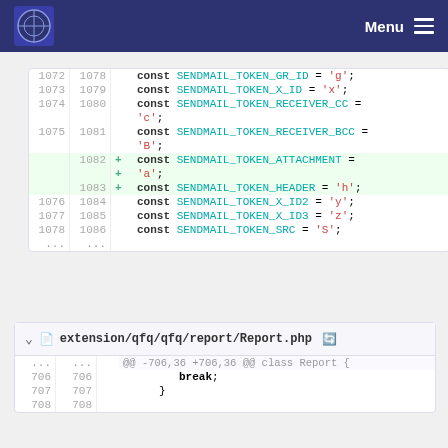Menu
[Figure (screenshot): Code diff showing PHP constants: SENDMAIL_TOKEN_GR_ID, SENDMAIL_TOKEN_X_ID, SENDMAIL_TOKEN_RECEIVER_CC, SENDMAIL_TOKEN_RECEIVER_BCC, SENDMAIL_TOKEN_ATTACHMENT (added), SENDMAIL_TOKEN_HEADER (added), SENDMAIL_TOKEN_X_ID2, SENDMAIL_TOKEN_X_ID3, SENDMAIL_TOKEN_SRC]
[Figure (screenshot): File header: extension/qfq/qfq/report/Report.php, diff hunk @@ -706,36 +706,36 @@ class Report {, lines 706-708 showing break; and }]